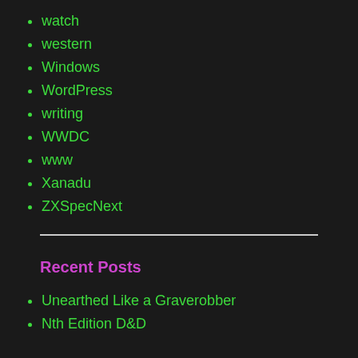watch
western
Windows
WordPress
writing
WWDC
www
Xanadu
ZXSpecNext
Recent Posts
Unearthed Like a Graverobber
Nth Edition D&D